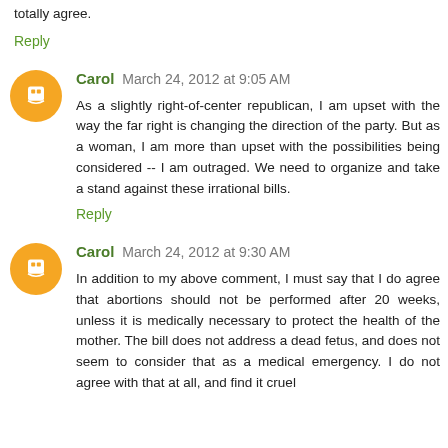totally agree.
Reply
Carol March 24, 2012 at 9:05 AM
As a slightly right-of-center republican, I am upset with the way the far right is changing the direction of the party. But as a woman, I am more than upset with the possibilities being considered -- I am outraged. We need to organize and take a stand against these irrational bills.
Reply
Carol March 24, 2012 at 9:30 AM
In addition to my above comment, I must say that I do agree that abortions should not be performed after 20 weeks, unless it is medically necessary to protect the health of the mother. The bill does not address a dead fetus, and does not seem to consider that as a medical emergency. I do not agree with that at all, and find it cruel